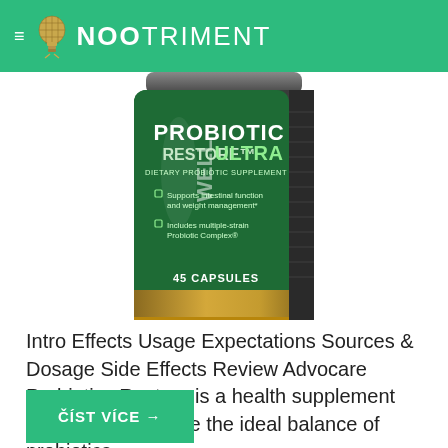≡  NOOTRIMENT
[Figure (photo): Product photo of Advocare Probiotic Restore Ultra dietary probiotic supplement bottle, 45 capsules, green label with gold bottom, showing text: Probiotic Restore Ultra, Dietary Probiotic Supplement, Supports intestinal function and weight management, Includes multiple-strain Probiotic Complex, 45 Capsules]
Intro Effects Usage Expectations Sources & Dosage Side Effects Review Advocare Probiotics Restore is a health supplement designed to provide the ideal balance of probiotics...
ČÍST VÍCE →